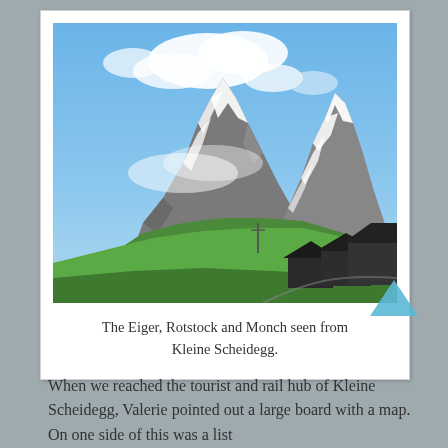[Figure (photo): Photograph of the Eiger, Rotstock and Monch mountains seen from Kleine Scheidegg. Snow-capped peaks against a blue sky with clouds, green alpine meadows in the foreground, and dark wooden chalet buildings at the bottom right.]
The Eiger, Rotstock and Monch seen from Kleine Scheidegg.
When we reached the tourist and rail hub of Kleine Scheidegg, Valerie pointed out a large board with a map. On one side of this was a list